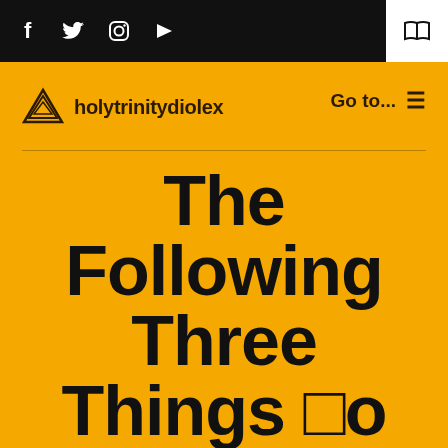f  twitter  instagram  youtube  [book icon]
[Figure (logo): Holy Trinity Diolex logo — triangular geometric icon with text 'holytrinitydiolex']
Go to...  ≡
The Following Three Things 🔲o Instantly Do About Panic